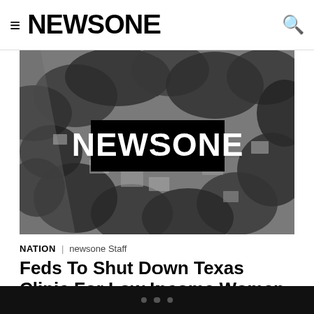≡ NEWSONE
[Figure (photo): Aerial grayscale photograph of a residential suburban neighborhood with trees and houses, overlaid with a black box containing the NEWSONE logo in white bold text]
NATION | newsone Staff
Feds To Shut Down Texas Clinic For Low Income Women
HOUSTON (AP) — The federal government will stop funding a Texas health program that serves 130,000 low-income women